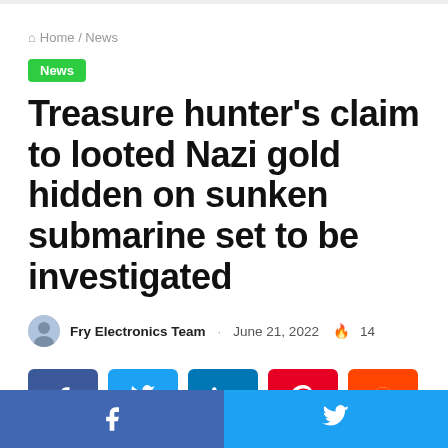Home / News
News
Treasure hunter's claim to looted Nazi gold hidden on sunken submarine set to be investigated
Fry Electronics Team · June 21, 2022 🔥 14
[Figure (other): Social share buttons: Facebook, Twitter, LinkedIn, Pinterest, Reddit]
Facebook share | Twitter share footer bar